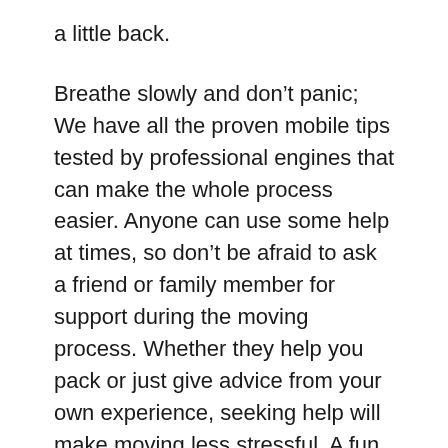a little back.
Breathe slowly and don't panic; We have all the proven mobile tips tested by professional engines that can make the whole process easier. Anyone can use some help at times, so don't be afraid to ask a friend or family member for support during the moving process. Whether they help you pack or just give advice from your own experience, seeking help will make moving less stressful. A fun way to make movement easier is to organize a packing party where your friends can help you get started. This schedule ensures that you have enough time to do everything, such as renting motorcycles or booking a rental car and packing with enough time.